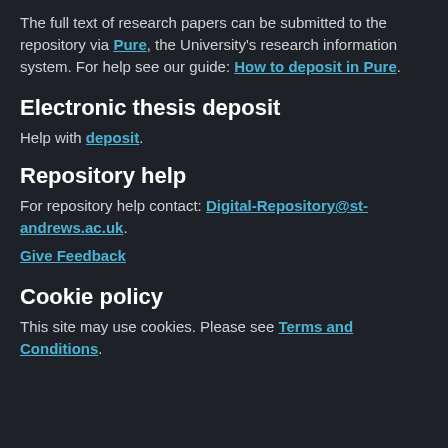The full text of research papers can be submitted to the repository via Pure, the University's research information system. For help see our guide: How to deposit in Pure.
Electronic thesis deposit
Help with deposit.
Repository help
For repository help contact: Digital-Repository@st-andrews.ac.uk.
Give Feedback
Cookie policy
This site may use cookies. Please see Terms and Conditions.